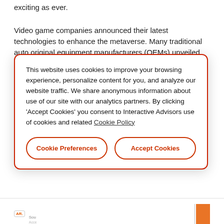exciting as ever.
Video game companies announced their latest technologies to enhance the metaverse. Many traditional auto original equipment manufacturers (OEMs) unveiled their latest commitments to electric and autonomous vehicles (EVs/AVs). And the Internet of Things (IoT) ecosystem signaled the end of closed ecosystems and the rise of interoperability.
In this preview, we are highlighting our data and elaborate on the trends that are reshaping technology in 2022.
[Figure (other): Cookie consent modal dialog with red border. Text reads: 'This website uses cookies to improve your browsing experience, personalize content for you, and analyze our website traffic. We share anonymous information about use of our site with our analytics partners. By clicking Accept Cookies you consent to Interactive Advisors use of cookies and related Cookie Policy'. Two buttons: 'Cookie Preferences' and 'Accept Cookies'.]
[Figure (bar-chart): Partial bar chart visible at the bottom of the page, with an orange bar and axis line visible.]